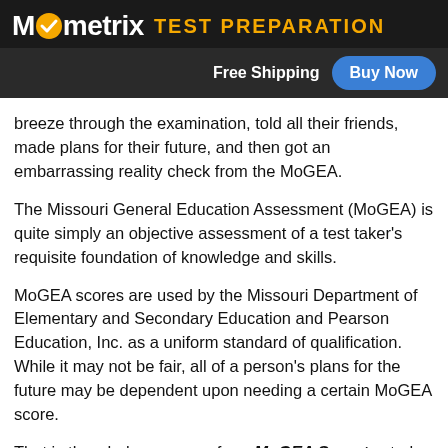[Figure (logo): Mometrix Test Preparation logo with white checkmark in yellow circle, yellow 'TEST PREPARATION' text on dark background, with 'Free Shipping' and 'Buy Now' button]
breeze through the examination, told all their friends, made plans for their future, and then got an embarrassing reality check from the MoGEA.
The Missouri General Education Assessment (MoGEA) is quite simply an objective assessment of a test taker's requisite foundation of knowledge and skills.
MoGEA scores are used by the Missouri Department of Elementary and Secondary Education and Pearson Education, Inc. as a uniform standard of qualification. While it may not be fair, all of a person's plans for the future may be dependent upon needing a certain MoGEA score.
That is the whole purpose of our MoGEA Secrets study guide: to give test takers the keys to